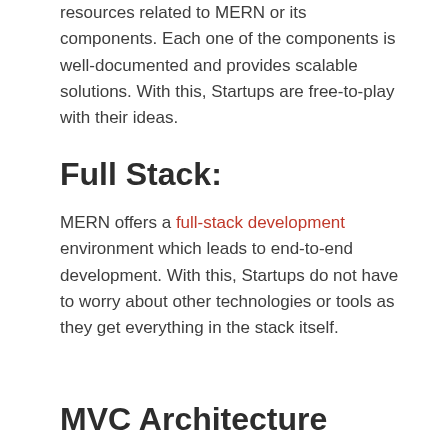resources related to MERN or its components. Each one of the components is well-documented and provides scalable solutions. With this, Startups are free-to-play with their ideas.
Full Stack:
MERN offers a full-stack development environment which leads to end-to-end development. With this, Startups do not have to worry about other technologies or tools as they get everything in the stack itself.
MVC Architecture